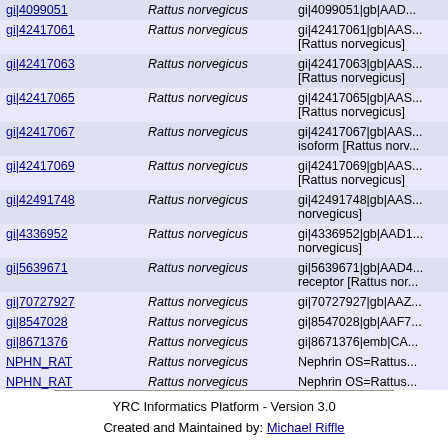| ID | Species | Description |
| --- | --- | --- |
| gi|4099051 | Rattus norvegicus | gi|4099051|gb|AAD... |
| gi|42417061 | Rattus norvegicus | gi|42417061|gb|AAS... [Rattus norvegicus] |
| gi|42417063 | Rattus norvegicus | gi|42417063|gb|AAS... [Rattus norvegicus] |
| gi|42417065 | Rattus norvegicus | gi|42417065|gb|AAS... [Rattus norvegicus] |
| gi|42417067 | Rattus norvegicus | gi|42417067|gb|AAS... isoform [Rattus norv... |
| gi|42417069 | Rattus norvegicus | gi|42417069|gb|AAS... [Rattus norvegicus] |
| gi|42491748 | Rattus norvegicus | gi|42491748|gb|AAS... norvegicus] |
| gi|4336952 | Rattus norvegicus | gi|4336952|gb|AAD1... norvegicus] |
| gi|5639671 | Rattus norvegicus | gi|5639671|gb|AAD4... receptor [Rattus nor... |
| gi|70727927 | Rattus norvegicus | gi|70727927|gb|AAZ... |
| gi|8547028 | Rattus norvegicus | gi|8547028|gb|AAF7... |
| gi|8671376 | Rattus norvegicus | gi|8671376|emb|CA... |
| NPHN_RAT | Rattus norvegicus | Nephrin OS=Rattus... |
| NPHN_RAT | Rattus norvegicus | Nephrin OS=Rattus... |
| PDLI2_RAT | Rattus norvegicus | PDZ and LIM domai... GN=Pdlim2 PE=1 S... |
| SDC4_RAT | Rattus norvegicus | Syndecan-4 OS=Ra... |
YRC Informatics Platform - Version 3.0
Created and Maintained by: Michael Riffle